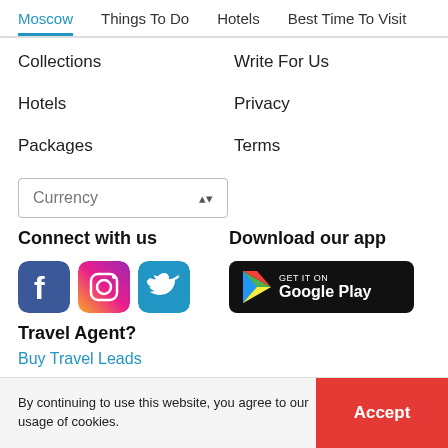Moscow | Things To Do | Hotels | Best Time To Visit
Collections
Write For Us
Hotels
Privacy
Packages
Terms
Currency (selector)
Connect with us
[Figure (logo): Facebook, Instagram, Twitter social media icons]
Download our app
[Figure (logo): Get it on Google Play button]
Travel Agent?
Buy Travel Leads
By continuing to use this website, you agree to our usage of cookies.